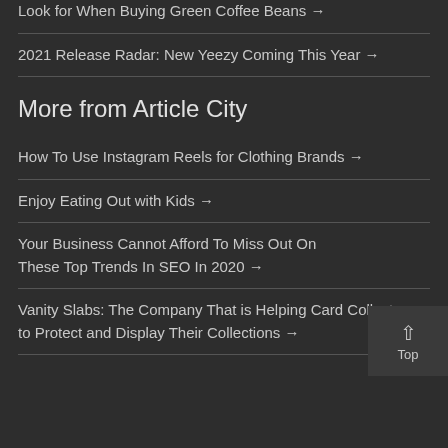Look for When Buying Green Coffee Beans →
2021 Release Radar: New Yeezy Coming This Year →
More from Article City
How To Use Instagram Reels for Clothing Brands →
Enjoy Eating Out with Kids →
Your Business Cannot Afford To Miss Out On These Top Trends In SEO In 2020 →
Vanity Slabs: The Company That is Helping Card Collectors to Protect and Display Their Collections →